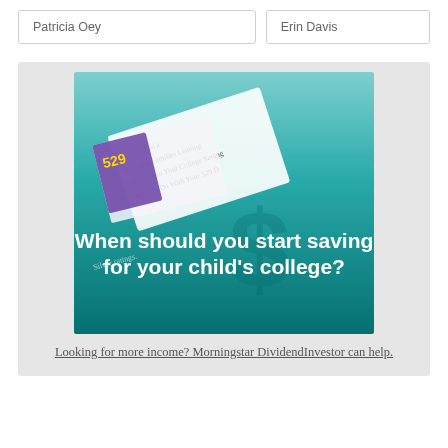Patricia Oey
Erin Davis
[Figure (illustration): Promotional image for a college savings guide showing a teal/green gradient background with overlapping document pages referencing 529 plans and college savings topics, with bold white text reading 'When should you start saving for your child's college?']
Looking for more income? Morningstar DividendInvestor can help.